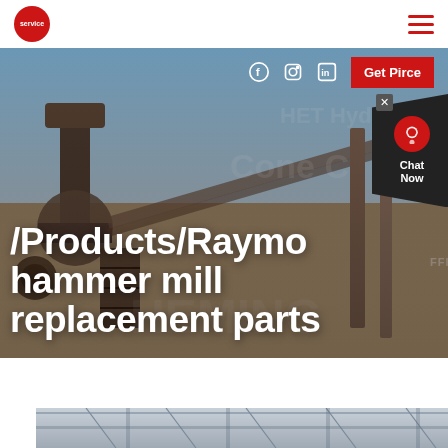Service logo | Hamburger menu
[Figure (photo): Industrial mining/crushing plant with heavy machinery, conveyor belts, and industrial equipment against a sky background. Banner overlay with social icons, Get Price button, and large white title text.]
/Products/Raymo hammer mill replacement parts
[Figure (photo): Bottom portion: interior of an industrial facility, partially visible at bottom of page.]